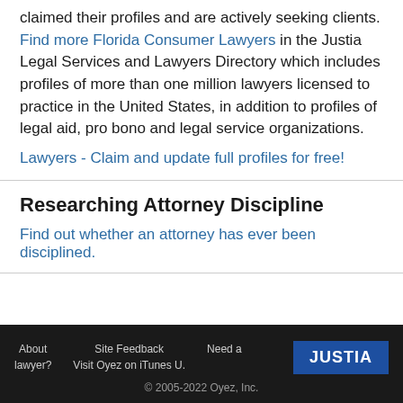claimed their profiles and are actively seeking clients. Find more Florida Consumer Lawyers in the Justia Legal Services and Lawyers Directory which includes profiles of more than one million lawyers licensed to practice in the United States, in addition to profiles of legal aid, pro bono and legal service organizations.
Lawyers - Claim and update full profiles for free!
Researching Attorney Discipline
Find out whether an attorney has ever been disciplined.
About lawyer? | Site Feedback Visit Oyez on iTunes U. | Need a | JUSTIA | © 2005-2022 Oyez, Inc.